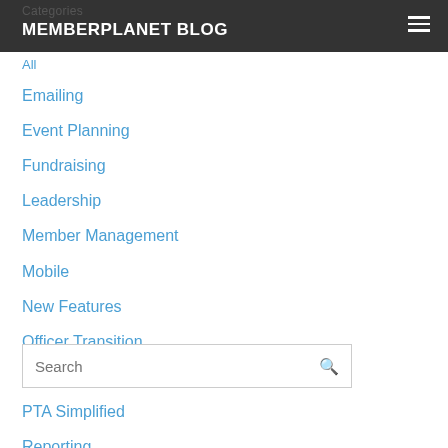MEMBERPLANET BLOG
All
Emailing
Event Planning
Fundraising
Leadership
Member Management
Mobile
New Features
Officer Transition
Pro Tips
PTA Simplified
Reporting
Social Media